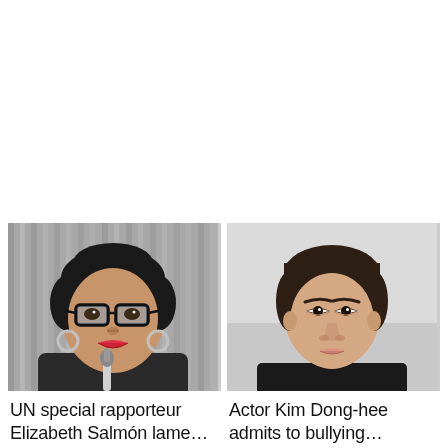[Figure (photo): A woman with black hair wearing glasses and hoop earrings, speaking into a microphone. She appears to be at a press conference or official setting with a grey curtain background.]
UN special rapporteur Elizabeth Salmón lame…
[Figure (photo): A young Korean man with dark brown hair looking directly at the camera against a light grey/white background. Professional headshot style.]
Actor Kim Dong-hee admits to bullying…